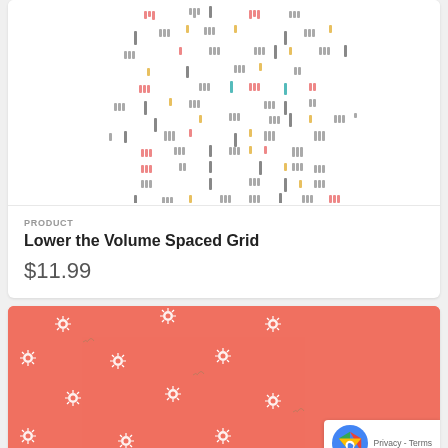[Figure (illustration): Fabric pattern swatch showing colorful small marks/dashes arranged in a spaced grid pattern on white background]
PRODUCT
Lower the Volume Spaced Grid
$11.99
[Figure (photo): Salmon/coral colored fabric with small white daisy/sunburst flower pattern and tiny green leaf accents]